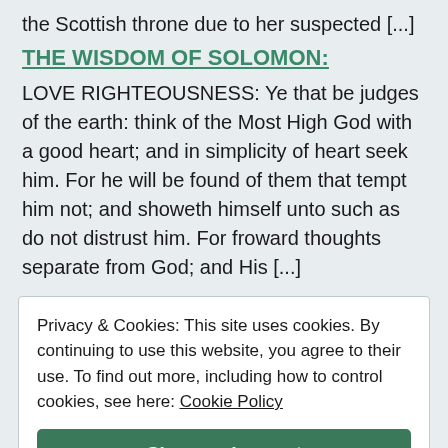the Scottish throne due to her suspected [...]
THE WISDOM OF SOLOMON:
LOVE RIGHTEOUSNESS: Ye that be judges of the earth: think of the Most High God with a good heart; and in simplicity of heart seek him. For he will be found of them that tempt him not; and showeth himself unto such as do not distrust him. For froward thoughts separate from God; and His [...]
Privacy & Cookies: This site uses cookies. By continuing to use this website, you agree to their use. To find out more, including how to control cookies, see here: Cookie Policy
Close and accept
THE CAMBRIDGE ANCIENT HISTORY, VOL 2, p...